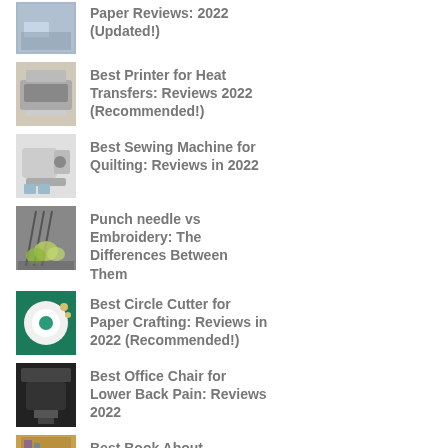Paper Reviews: 2022 (Updated!)
Best Printer for Heat Transfers: Reviews 2022 (Recommended!)
Best Sewing Machine for Quilting: Reviews in 2022
Punch needle vs Embroidery: The Differences Between Them
Best Circle Cutter for Paper Crafting: Reviews in 2022 (Recommended!)
Best Office Chair for Lower Back Pain: Reviews 2022
Best Book About ...